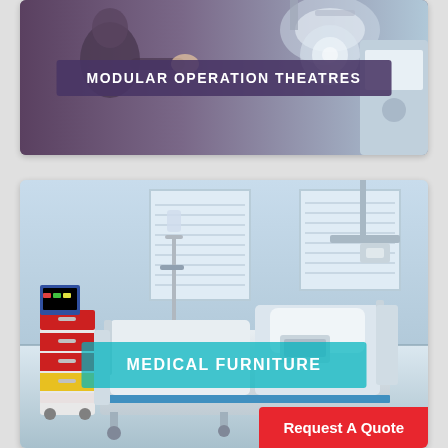[Figure (photo): Photo of modular operation theatre with surgical equipment, overlaid with a purple banner label reading MODULAR OPERATION THEATRES]
[Figure (photo): Photo of a hospital room with a modern adjustable patient bed, IV stand, colorful medical cart, and ceiling-mounted equipment. Overlaid with a teal banner reading MEDICAL FURNITURE and a red Request A Quote button.]